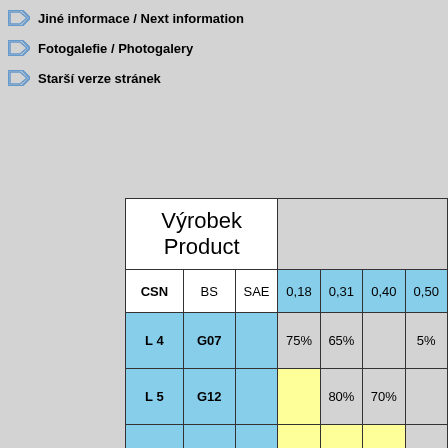Jiné informace / Next information
Fotogalefie / Photogalery
Starší verze stránek
| CSN | BS | SAE | 0,18 | 0,31 | 0,40 | 0,50 |
| --- | --- | --- | --- | --- | --- | --- |
| L 4 | G07 |  | 75% | 65% |  | 5% |
| L 5 | G12 |  |  | 80% | 70% |  |
| L 7 | G17 |  |  |  |  | 80% |
| L 8 | G24 |  |  |  |  |  |
| L 9 | G34 |  |  |  |  |  |